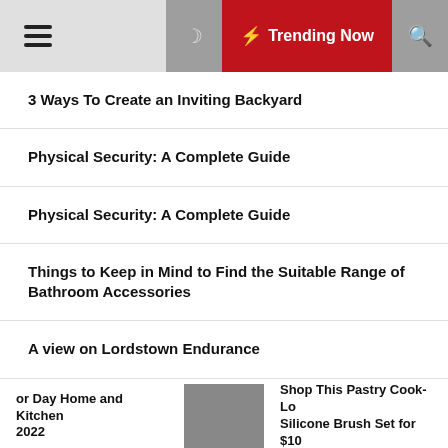Trending Now
3 Ways To Create an Inviting Backyard
Physical Security: A Complete Guide
Physical Security: A Complete Guide
Things to Keep in Mind to Find the Suitable Range of Bathroom Accessories
A view on Lordstown Endurance
How To Detect Roof Damage
6 Types of Compressed Gasses
or Day Home and Kitchen 2022 | Shop This Pastry Cook-Lo Silicone Brush Set for $10